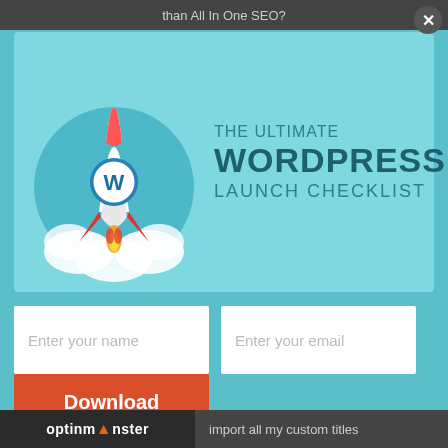than All In One SEO?
[Figure (screenshot): Promotional popup with rocket illustration and WordPress logo, teal background, showing 'THE ULTIMATE WORDPRESS LAUNCH CHECKLIST']
THE ULTIMATE WORDPRESS LAUNCH CHECKLIST
Enter your name
Enter your email
Download Now
optinmonster  import all my custom titles